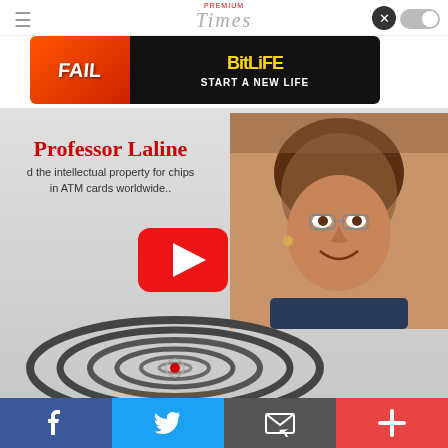Premium Times
[Figure (screenshot): BitLife advertisement banner with FAIL text and 'START A NEW LIFE' tagline]
[Figure (screenshot): Professor Laline video thumbnail showing a woman with text 'Professor Laline' in red and 'd the intellectual property for chips in ATM cards worldwide..' with YouTube play button and concentric circles graphic below]
[Figure (infographic): Social media sharing bar with Facebook, Twitter, email, and plus buttons at bottom]